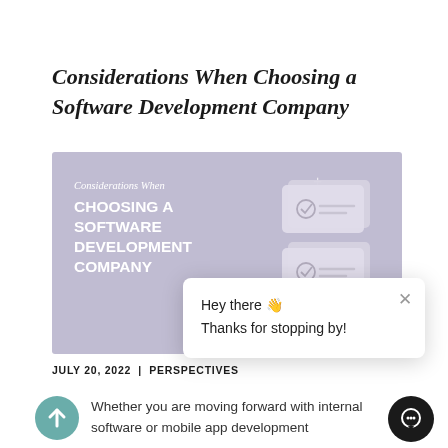Considerations When Choosing a Software Development Company
[Figure (illustration): Hero banner image with lavender/purple background showing 3D checklist boxes and bold white text reading 'Considerations When CHOOSING A SOFTWARE DEVELOPMENT COMPANY']
[Figure (screenshot): Chat popup overlay with close button (×), text 'Hey there 👋' and 'Thanks for stopping by!']
JULY 20, 2022  |  PERSPECTIVES
[Figure (illustration): Teal circular arrow-up icon]
Whether you are moving forward with internal software or mobile app development